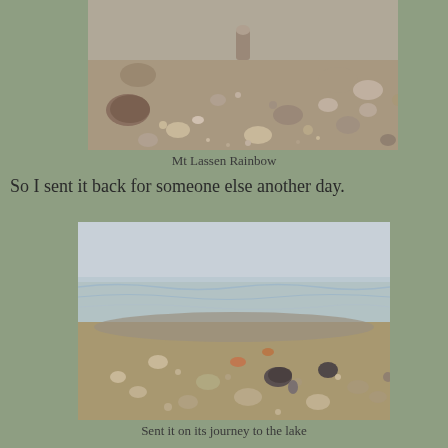[Figure (photo): Close-up photograph of a rocky pebbly ground/beach with various sized stones and gravel, with a small rock or object placed upright in the center background. Mt Lassen Rainbow photo.]
Mt Lassen Rainbow
So I sent it back for someone else another day.
[Figure (photo): Photograph of a pebbly beach shoreline with water washing over rocks and pebbles, with a dark rounded stone visible in the right-center area. Shallow clear water over gravel and stones.]
Sent it on its journey to the lake